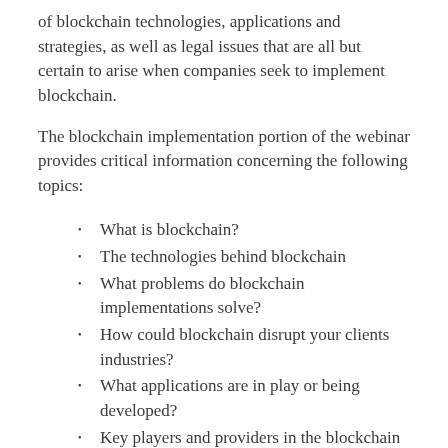of blockchain technologies, applications and strategies, as well as legal issues that are all but certain to arise when companies seek to implement blockchain.
The blockchain implementation portion of the webinar provides critical information concerning the following topics:
What is blockchain?
The technologies behind blockchain
What problems do blockchain implementations solve?
How could blockchain disrupt your clients industries?
What applications are in play or being developed?
Key players and providers in the blockchain eco-system
The state of the industry and markets
ICOs and ICO regulation